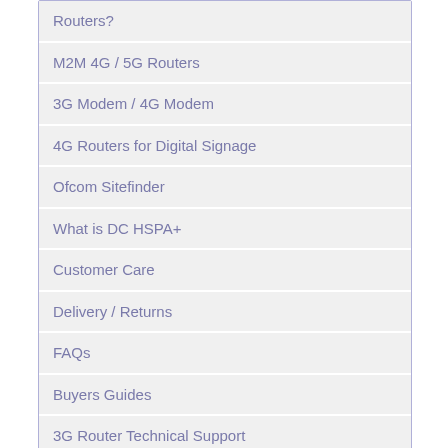Routers?
M2M 4G / 5G Routers
3G Modem / 4G Modem
4G Routers for Digital Signage
Ofcom Sitefinder
What is DC HSPA+
Customer Care
Delivery / Returns
FAQs
Buyers Guides
3G Router Technical Support
Security & Privacy
Website Feedback
Sitemap